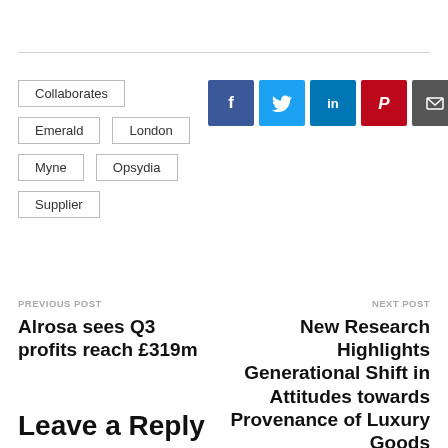Collaborates
Emerald
London
Myne
Opsydia
Supplier
[Figure (infographic): Social share buttons: Facebook (blue), Twitter (light blue), LinkedIn (dark blue), Pinterest (red), Email (dark gray)]
PREVIOUS POST
Alrosa sees Q3 profits reach £319m
NEXT POST
New Research Highlights Generational Shift in Attitudes towards Provenance of Luxury Goods
Leave a Reply